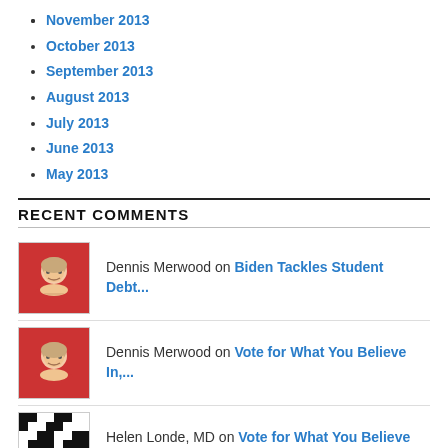November 2013
October 2013
September 2013
August 2013
July 2013
June 2013
May 2013
RECENT COMMENTS
Dennis Merwood on Biden Tackles Student Debt...
Dennis Merwood on Vote for What You Believe In,...
Helen Londe, MD on Vote for What You Believe In,...
Dennis Merwood on Vote for What You Believe In,...